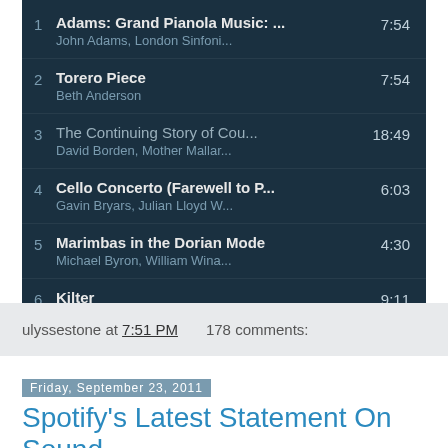[Figure (screenshot): Spotify playlist screenshot showing 6 tracks on dark teal background: 1. Adams: Grand Pianola Music:... by John Adams, London Sinfoni... 7:54; 2. Torero Piece by Beth Anderson 7:54; 3. The Continuing Story of Cou... by David Borden, Mother Mallar... 18:49; 4. Cello Concerto (Farewell to P... by Gavin Bryars, Julian Lloyd W... 6:03; 5. Marimbas in the Dorian Mode by Michael Byron, William Wina... 4:30; 6. Kilter by Mary Ellen Childs 9:11]
ulyssestone at 7:51 PM    178 comments:
Friday, September 23, 2011
Spotify's Latest Statement On Sound